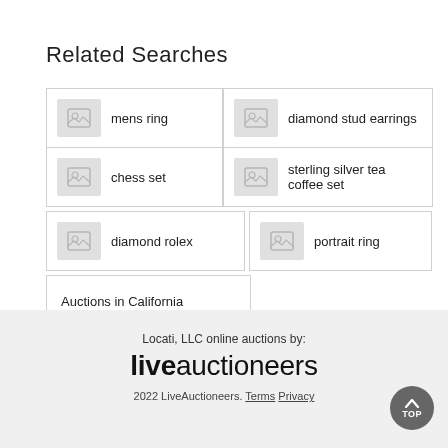Related Searches
mens ring
diamond stud earrings
chess set
sterling silver tea coffee set
diamond rolex
portrait ring
Auctions in California
Locati, LLC online auctions by: liveauctioneers 2022 LiveAuctioneers. Terms Privacy